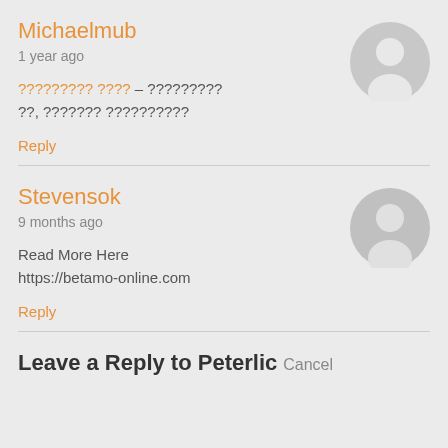Michaelmub
1 year ago
????????? ???? – ????????? ??, ??????? ??????????
Reply
[Figure (illustration): Gray circular user avatar icon for Michaelmub]
Stevensok
9 months ago
Read More Here
https://betamo-online.com
Reply
[Figure (illustration): Gray circular user avatar icon for Stevensok]
Leave a Reply to Peterlic Cancel